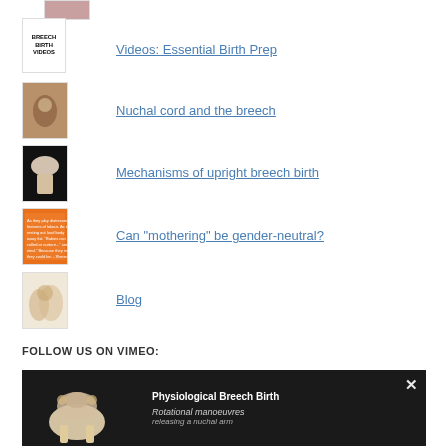[Figure (photo): Thumbnail image - partially visible at top]
Videos: Essential Birth Prep
[Figure (photo): Thumbnail - Breech Birth Videos text image]
Nuchal cord and the breech
[Figure (photo): Thumbnail - hand/birth image]
Mechanisms of upright breech birth
[Figure (photo): Thumbnail - dark anatomical model]
Can "mothering" be gender-neutral?
[Figure (photo): Thumbnail - orange/text image]
Blog
[Figure (photo): Thumbnail - beige figurine]
FOLLOW US ON VIMEO:
[Figure (screenshot): Vimeo video thumbnail showing Physiological Breech Birth - Rotational manoeuvres releasing a nuchal arm, with anatomical pelvis model on dark background]